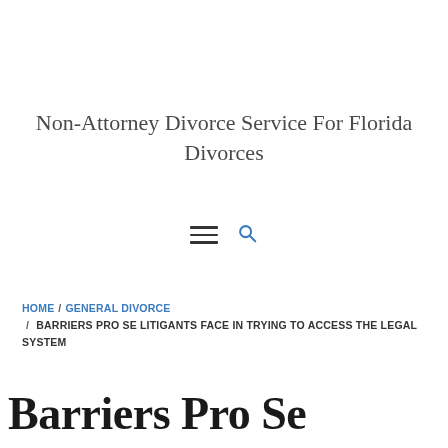Non-Attorney Divorce Service For Florida Divorces
[Figure (other): Navigation icons: hamburger menu and search magnifying glass icon]
HOME / GENERAL DIVORCE / BARRIERS PRO SE LITIGANTS FACE IN TRYING TO ACCESS THE LEGAL SYSTEM
Barriers Pro Se